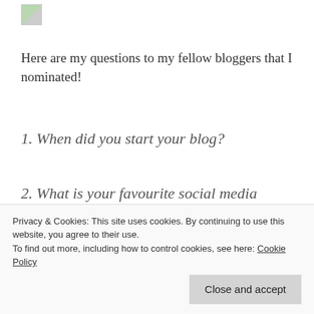[Figure (logo): Small broken image placeholder logo in top left corner]
Here are my questions to my fellow bloggers that I nominated!
1. When did you start your blog?
2. What is your favourite social media platform?
3. Do you have a pet?
5. Do you like to write during the day or night?
Privacy & Cookies: This site uses cookies. By continuing to use this website, you agree to their use. To find out more, including how to control cookies, see here: Cookie Policy